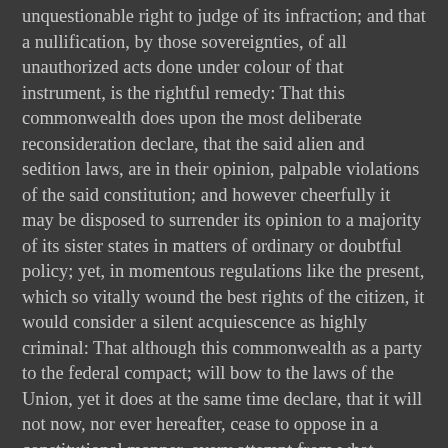unquestionable right to judge of its infraction; and that a nullification, by those sovereignties, of all unauthorized acts done under colour of that instrument, is the rightful remedy: That this commonwealth does upon the most deliberate reconsideration declare, that the said alien and sedition laws, are in their opinion, palpable violations of the said constitution; and however cheerfully it may be disposed to surrender its opinion to a majority of its sister states in matters of ordinary or doubtful policy; yet, in momentous regulations like the present, which so vitally wound the best rights of the citizen, it would consider a silent acquiescence as highly criminal: That although this commonwealth as a party to the federal compact; will bow to the laws of the Union, yet it does at the same time declare, that it will not now, nor ever hereafter, cease to oppose in a constitutional manner, every attempt from what quarter soever offered, to violate that compact:
AND FINALLY, in order that no pretexts or arguments may be drawn from a supposed acquiescence on the part of this commonwealth in the constitutionality of those laws, and be thereby used as precedents for similar future violations of federal compact; this